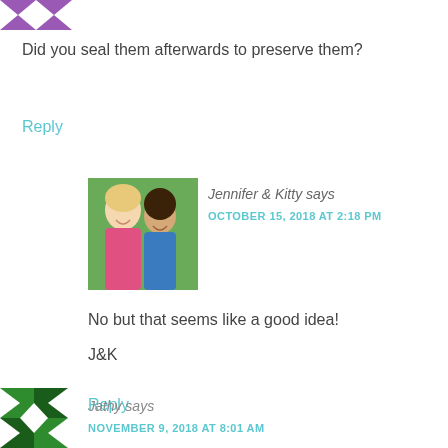[Figure (illustration): Purple geometric avatar icon (partial, clipped at top)]
Did you seal them afterwards to preserve them?
Reply
[Figure (photo): Photo of two women smiling outdoors, Jennifer & Kitty]
Jennifer & Kitty says
OCTOBER 15, 2018 AT 2:18 PM
No but that seems like a good idea!
J&K
Reply
[Figure (illustration): Green geometric avatar icon (pinwheel/quilt pattern)]
Jathy says
NOVEMBER 9, 2018 AT 8:01 AM